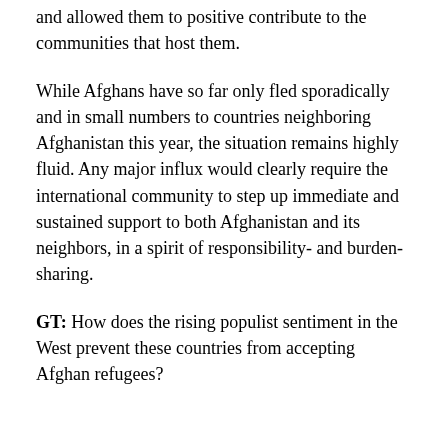and allowed them to positive contribute to the communities that host them.
While Afghans have so far only fled sporadically and in small numbers to countries neighboring Afghanistan this year, the situation remains highly fluid. Any major influx would clearly require the international community to step up immediate and sustained support to both Afghanistan and its neighbors, in a spirit of responsibility- and burden-sharing.
GT: How does the rising populist sentiment in the West prevent these countries from accepting Afghan refugees?